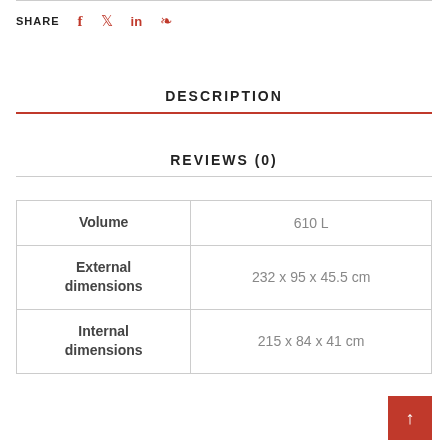SHARE  f  Twitter  in  Pinterest
DESCRIPTION
REVIEWS (0)
|  |  |
| --- | --- |
| Volume | 610 L |
| External dimensions | 232 x 95 x 45.5 cm |
| Internal dimensions | 215 x 84 x 41 cm |